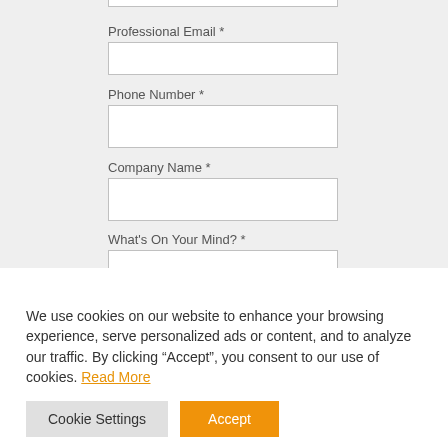Professional Email *
Phone Number *
Company Name *
What's On Your Mind? *
We use cookies on our website to enhance your browsing experience, serve personalized ads or content, and to analyze our traffic. By clicking “Accept”, you consent to our use of cookies. Read More
Cookie Settings
Accept